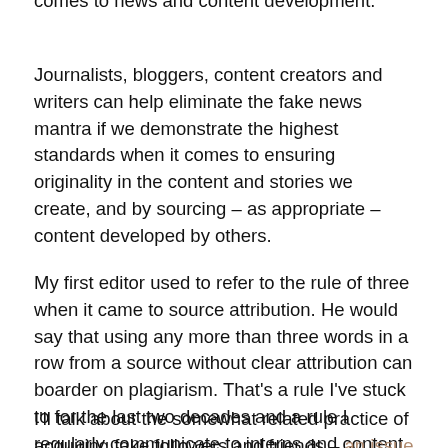comes to news and content development.
Journalists, bloggers, content creators and writers can help eliminate the fake news mantra if we demonstrate the highest standards when it comes to ensuring originality in the content and stories we create, and by sourcing – as appropriate – content developed by others.
My first editor used to refer to the rule of three when it came to source attribution. He would say that using any more than three words in a row from a source without clear attribution can boarder on plagiarism. That's a rule I've stuck to for the last two decades and a rule I regularly communicate to interns and content development teams.
I'll talk about the somewhat related practice of acquiring fake followers and friends – an issue